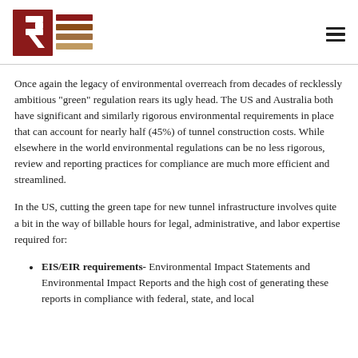RE logo and navigation
Once again the legacy of environmental overreach from decades of recklessly ambitious “green” regulation rears its ugly head. The US and Australia both have significant and similarly rigorous environmental requirements in place that can account for nearly half (45%) of tunnel construction costs. While elsewhere in the world environmental regulations can be no less rigorous, review and reporting practices for compliance are much more efficient and streamlined.
In the US, cutting the green tape for new tunnel infrastructure involves quite a bit in the way of billable hours for legal, administrative, and labor expertise required for:
EIS/EIR requirements- Environmental Impact Statements and Environmental Impact Reports and the high cost of generating these reports in compliance with federal, state, and local